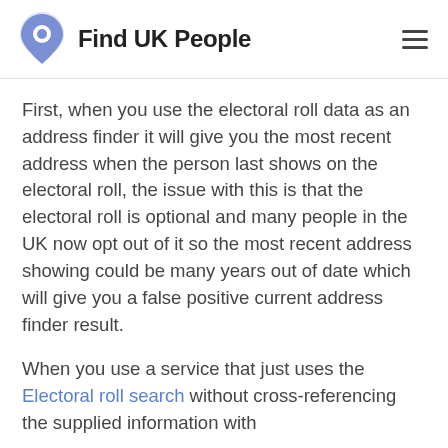Find UK People
First, when you use the electoral roll data as an address finder it will give you the most recent address when the person last shows on the electoral roll, the issue with this is that the electoral roll is optional and many people in the UK now opt out of it so the most recent address showing could be many years out of date which will give you a false positive current address finder result.
When you use a service that just uses the Electoral roll search without cross-referencing the supplied information with